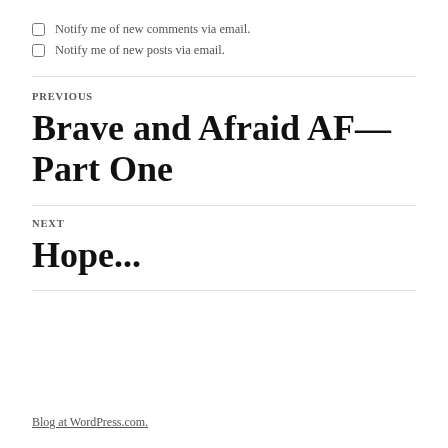Notify me of new comments via email.
Notify me of new posts via email.
PREVIOUS
Brave and Afraid AF—Part One
NEXT
Hope...
Blog at WordPress.com.